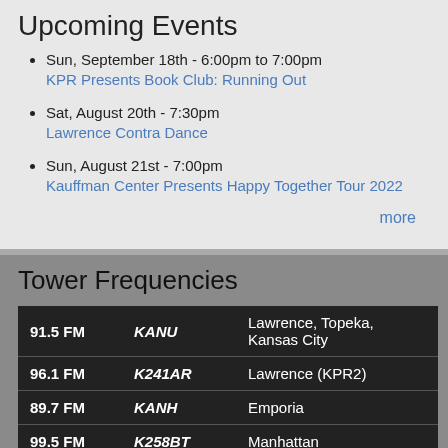Upcoming Events
Sun, September 18th - 6:00pm to 7:00pm
KPR Presents Book Club: Running Out
Sat, August 20th - 7:30pm
Lawrence Contra Dance
Sun, August 21st - 7:00pm
Kauffman Center Presents Happy Together Tour 2022
more
Tower Frequencies
| Frequency | Call Sign | Location |
| --- | --- | --- |
| 91.5 FM | KANU | Lawrence, Topeka, Kansas City |
| 96.1 FM | K241AR | Lawrence (KPR2) |
| 89.7 FM | KANH | Emporia |
| 99.5 FM | K258BT | Manhattan |